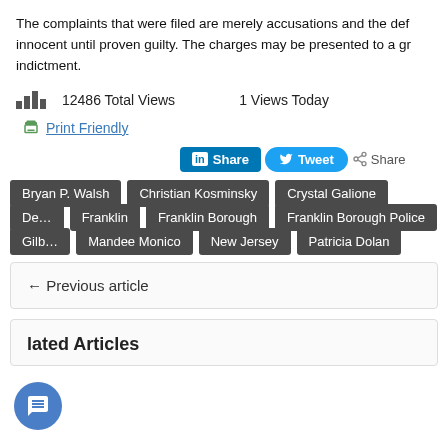The complaints that were filed are merely accusations and the defendants are innocent until proven guilty. The charges may be presented to a grand jury for indictment.
12486 Total Views   1 Views Today
Print Friendly
Share  Tweet  Share
Bryan P. Walsh
Christian Kosminsky
Crystal Galione
De…
Franklin
Franklin Borough
Franklin Borough Police
Gilb…
Mandee Monico
New Jersey
Patricia Dolan
← Previous article
lated Articles